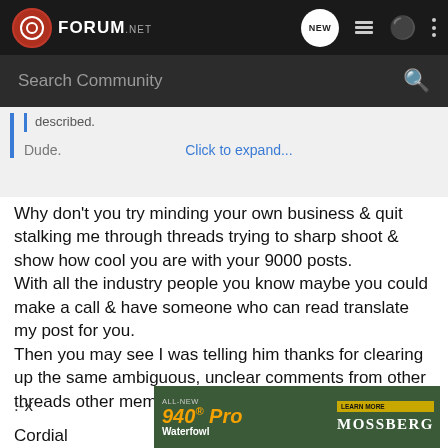FN FORUM.NET
Search Community
described.
Dude.  Click to expand...
Why don't you try minding your own business & quit stalking me through threads trying to sharp shoot & show how cool you are with your 9000 posts.
With all the industry people you know maybe you could make a call & have someone who can read translate my post for you.
Then you may see I was telling him thanks for clearing up the same ambiguous, unclear comments from other threads other members thanked him for clearing up.
:-x
[Figure (photo): All-New 940 Pro Waterfowl advertisement by Mossberg with LEARN MORE button]
Cordial